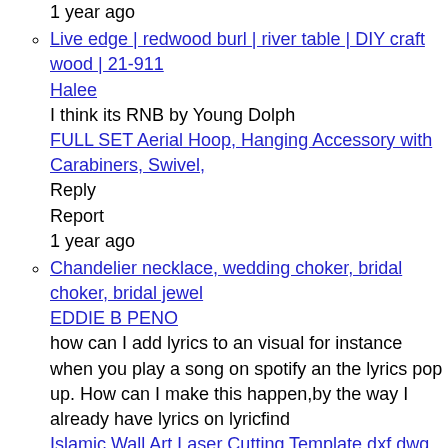1 year ago
Live edge | redwood burl | river table | DIY craft wood | 21-911
Halee
I think its RNB by Young Dolph
FULL SET Aerial Hoop, Hanging Accessory with Carabiners, Swivel,
Reply
Report
1 year ago
Chandelier necklace, wedding choker, bridal choker, bridal jewel
EDDIE B PENO
how can I add lyrics to an visual for instance when you play a song on spotify an the lyrics pop up. How can I make this happen,by the way I already have lyrics on lyricfind
Islamic Wall Art Laser Cutting Template dxf dwg cdr pdf png svg
Reply
Report
1 year ago
Moonsdust (6725) - 28wt - Small Spool - Aurifil Thread
Mark Jones
i like the song
Diamond Earrings Chandelier 18k white gold